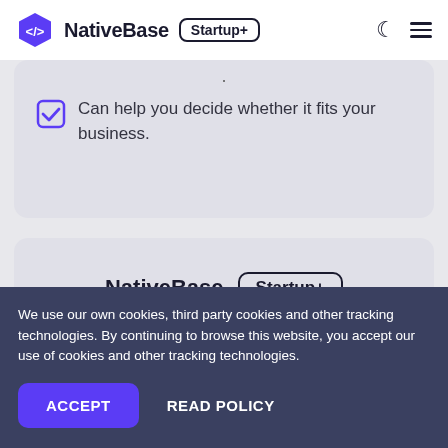NativeBase Startup+
Can help you decide whether it fits your business.
NativeBase Startup+
We use our own cookies, third party cookies and other tracking technologies. By continuing to browse this website, you accept our use of cookies and other tracking technologies.
ACCEPT
READ POLICY